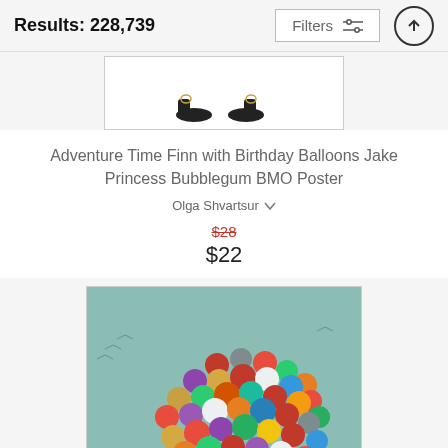Results: 228,739
Filters
[Figure (illustration): Partial product image showing two small illustrated feet/shoes at the bottom of a white bordered card]
Adventure Time Finn with Birthday Balloons Jake Princess Bubblegum BMO Poster
Olga Shvartsur
$28 (crossed out, original price) $22 (sale price)
[Figure (illustration): Colorful illustration showing a large circular arrangement of colorful balloon-like shapes on a teal/muted green background with small bird silhouettes in the sky]